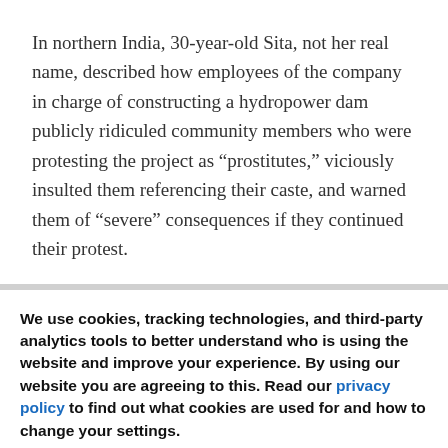In northern India, 30-year-old Sita, not her real name, described how employees of the company in charge of constructing a hydropower dam publicly ridiculed community members who were protesting the project as “prostitutes,” viciously insulted them referencing their caste, and warned them of “severe” consequences if they continued their protest.
We use cookies, tracking technologies, and third-party analytics tools to better understand who is using the website and improve your experience. By using our website you are agreeing to this. Read our privacy policy to find out what cookies are used for and how to change your settings.
Accept
Other options